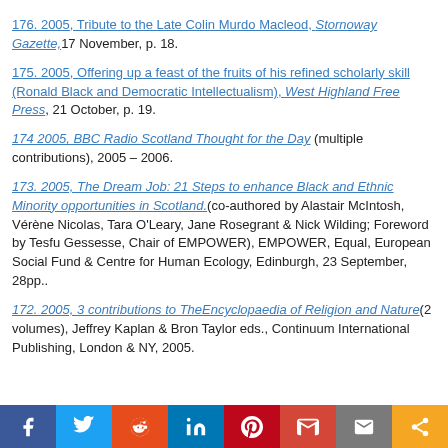176. 2005, Tribute to the Late Colin Murdo Macleod, Stornoway Gazette, 17 November, p. 18.
175. 2005, Offering up a feast of the fruits of his refined scholarly skill (Ronald Black and Democratic Intellectualism), West Highland Free Press, 21 October, p. 19.
174 2005, BBC Radio Scotland Thought for the Day (multiple contributions), 2005 – 2006.
173. 2005, The Dream Job: 21 Steps to enhance Black and Ethnic Minority opportunities in Scotland. (co-authored by Alastair McIntosh, Vérène Nicolas, Tara O'Leary, Jane Rosegrant & Nick Wilding; Foreword by Tesfu Gessesse, Chair of EMPOWER), EMPOWER, Equal, European Social Fund & Centre for Human Ecology, Edinburgh, 23 September, 28pp..
172. 2005, 3 contributions to The Encyclopaedia of Religion and Nature (2 volumes), Jeffrey Kaplan & Bron Taylor eds., Continuum International Publishing, London & NY, 2005.